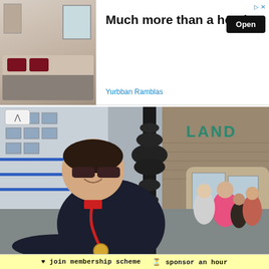[Figure (photo): Advertisement banner with hotel room photo on left (bed with dark red pillows, window visible), bold text 'Much more than a hotel', subtitle 'Yurbban Ramblas', black 'Open' button, and small arrow icon in top right corner]
[Figure (photo): Outdoor street photograph of a middle-aged man wearing sunglasses and a dark navy coat with a red lanyard and medal around his neck, smiling while leaning near an ornate black cast-iron street lamp post. Background shows a brick building with 'LAND' visible in teal letters, modern apartment building with blue railings, and a group of people including women and children in colorful coats.]
♥ join membership scheme  🕐 sponsor an hour